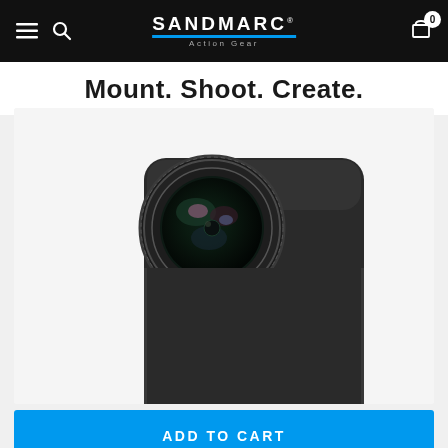SANDMARC Action Gear — navigation bar with hamburger menu, search icon, logo, and cart (0)
Mount. Shoot. Create.
[Figure (photo): A black smartphone case with a large circular camera lens attachment (telephoto or wide-angle lens) mounted on the top-left corner, shown on a white background. The case appears to be for a rectangular smartphone. A partial view of the bottom of the case with SANDMARC branding is visible at the very bottom of the page.]
ADD TO CART